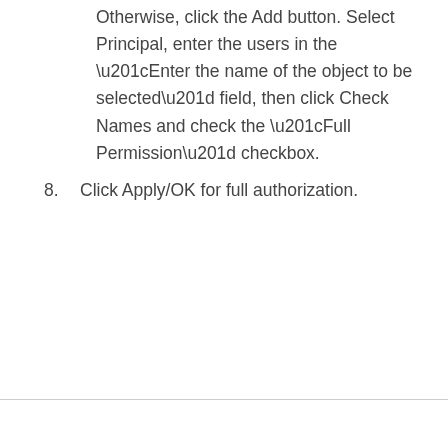Otherwise, click the Add button. Select Principal, enter the users in the “Enter the name of the object to be selected” field, then click Check Names and check the “Full Permission” checkbox.
8. Click Apply/OK for full authorization.